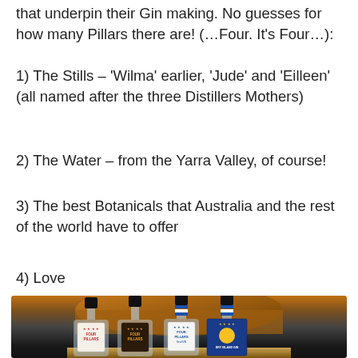that underpin their Gin making. No guesses for how many Pillars there are! (…Four. It's Four…):
1) The Stills – 'Wilma' earlier, 'Jude' and 'Eilleen' (all named after the three Distillers Mothers)
2) The Water – from the Yarra Valley, of course!
3) The best Botanicals that Australia and the rest of the world have to offer
4) Love
[Figure (photo): Four Pillars gin bottles displayed in front of a copper distillation still. Four bottles visible: white-label Four Pillars, dark-label Four Pillars, white/blue Four Pillars SeaGin Navy Strength, and a blue-boxed Dry Island Gin.]